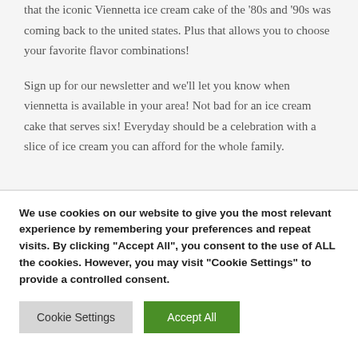that the iconic Viennetta ice cream cake of the '80s and '90s was coming back to the united states. Plus that allows you to choose your favorite flavor combinations!
Sign up for our newsletter and we'll let you know when viennetta is available in your area! Not bad for an ice cream cake that serves six! Everyday should be a celebration with a slice of ice cream you can afford for the whole family.
We use cookies on our website to give you the most relevant experience by remembering your preferences and repeat visits. By clicking "Accept All", you consent to the use of ALL the cookies. However, you may visit "Cookie Settings" to provide a controlled consent.